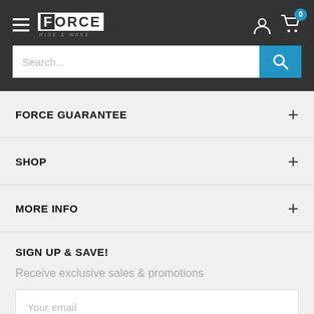FORCE RISE & WAKE - Navigation header with search bar
FORCE GUARANTEE
SHOP
MORE INFO
SIGN UP & SAVE!
Receive exclusive sales & promotions
Your email